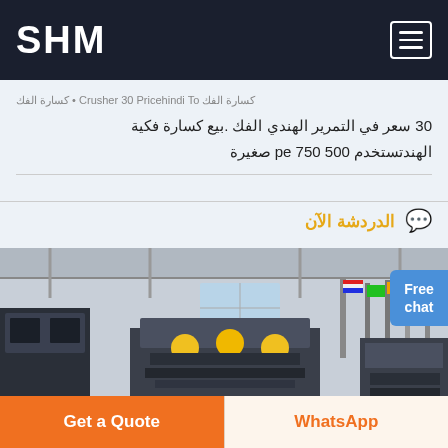SHM
كسارة الفك .بيع كسارة فكية الهندستستخدم pe 500 750 صغيرة 30 سعر في التمرير الهندي الفك
الدردشة الآن
[Figure (photo): Industrial factory floor with heavy machinery, yellow-helmeted workers, and colorful flags in the background]
Get a Quote
WhatsApp